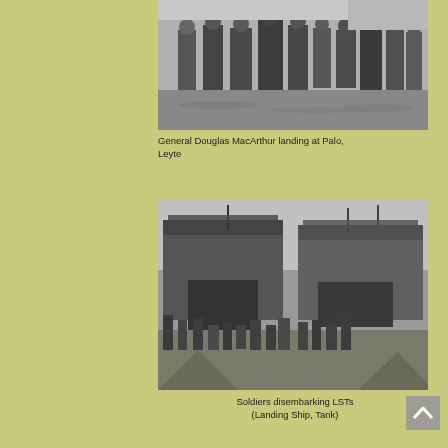[Figure (photo): Black and white photograph of General Douglas MacArthur and soldiers wading through water during landing at Palo, Leyte]
General Douglas MacArthur landing at Palo, Leyte
[Figure (photo): Black and white photograph of soldiers disembarking LSTs (Landing Ship, Tank) on a beach, with two large landing ships visible in the background]
Soldiers disembarking LSTs (Landing Ship, Tank)